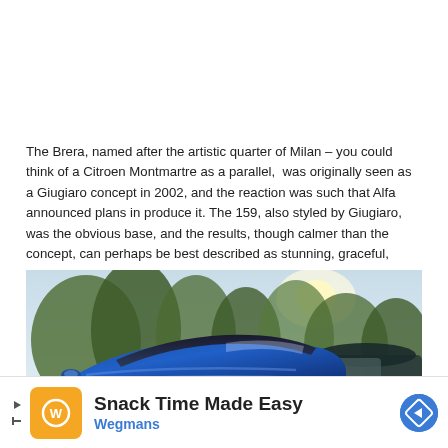The Brera, named after the artistic quarter of Milan – you could think of a Citroen Montmartre as a parallel, was originally seen as a Giugiaro concept in 2002, and the reaction was such that Alfa announced plans in produce it. The 159, also styled by Giugiaro, was the obvious base, and the results, though calmer than the concept, can perhaps be best described as stunning, graceful, elegant and distinctive.
[Figure (photo): A blue Alfa Romeo Brera photographed from the rear three-quarter angle in a wooded car park setting, with another dark-colored car partially visible to the right.]
[Figure (infographic): Advertisement banner for Wegmans: 'Snack Time Made Easy' with Wegmans logo icon, text, and a blue diamond navigation arrow icon.]